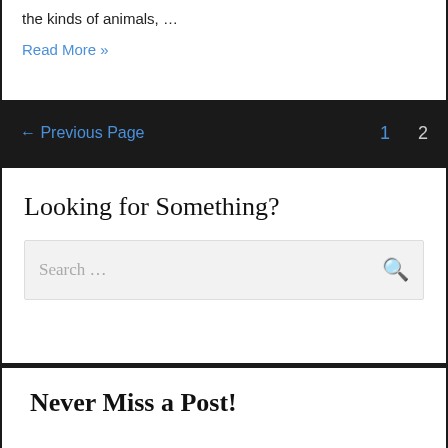the kinds of animals, ...
Read More »
← Previous Page
1  2
Looking for Something?
Search ...
Never Miss a Post!